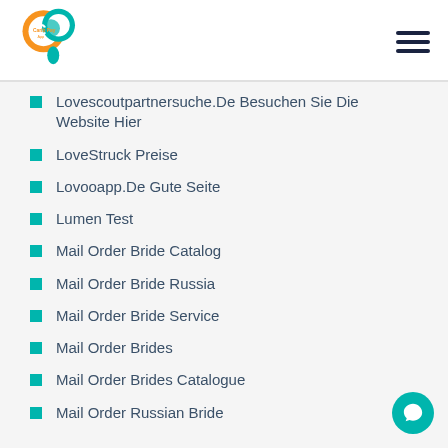[Figure (logo): Carib Pay App logo - two interlocking circles in orange and teal with 'cp' letters]
Lovescoutpartnersuche.De Besuchen Sie Die Website Hier
LoveStruck Preise
Lovooapp.De Gute Seite
Lumen Test
Mail Order Bride Catalog
Mail Order Bride Russia
Mail Order Bride Service
Mail Order Brides
Mail Order Brides Catalogue
Mail Order Russian Bride